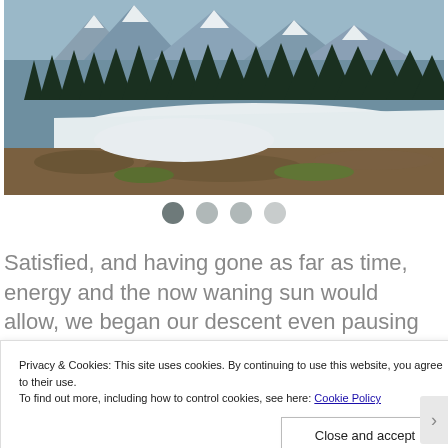[Figure (photo): A mountain landscape photograph showing a snow-covered alpine meadow with evergreen pine trees (spruce/fir) in the background and snow-capped mountain peaks. Brown dried grass is visible in the foreground with a large snow patch in the middle ground.]
Satisfied, and having gone as far as time, energy and the now waning sun would allow, we began our descent even pausing to engage with a
Privacy & Cookies: This site uses cookies. By continuing to use this website, you agree to their use.
To find out more, including how to control cookies, see here: Cookie Policy
Close and accept